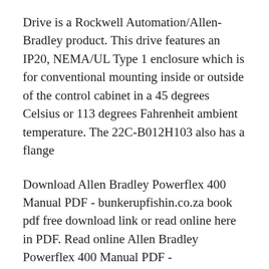Drive is a Rockwell Automation/Allen-Bradley product. This drive features an IP20, NEMA/UL Type 1 enclosure which is for conventional mounting inside or outside of the control cabinet in a 45 degrees Celsius or 113 degrees Fahrenheit ambient temperature. The 22C-B012H103 also has a flange
Download Allen Bradley Powerflex 400 Manual PDF - bunkerupfishin.co.za book pdf free download link or read online here in PDF. Read online Allen Bradley Powerflex 400 Manual PDF - bunkerupfishin.co.za book pdf free download link book now. All books are in clear copy here, and all files are secure so don't worry about it. This site is like a technical documentation,